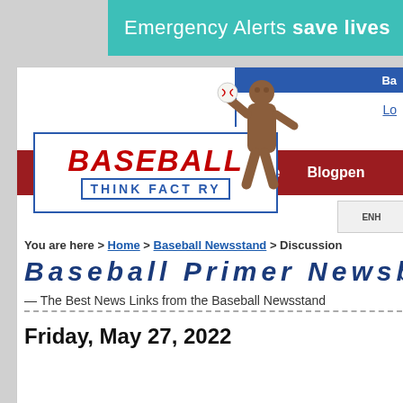[Figure (screenshot): Teal emergency alerts banner reading 'Emergency Alerts save lives']
[Figure (logo): Baseball Think Factory website logo with red 'BASEBALL' text and blue 'THINK FACTORY' below, with baseball player statue figure]
Ba... (baseball site header) | Home | Blogpen
You are here > Home > Baseball Newsstand > Discussion
Baseball Primer Newsblo...
— The Best News Links from the Baseball Newsstand
Friday, May 27, 2022